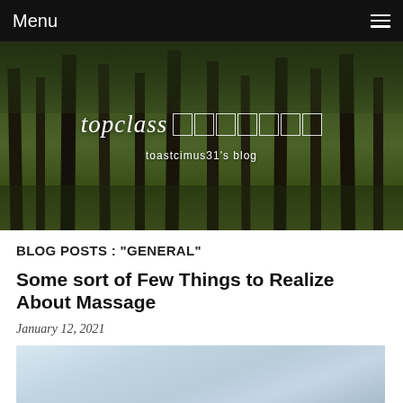Menu
[Figure (photo): Forest background with tall pine trees; blog title overlay reading 'topclass' followed by Japanese kanji characters in outlined boxes, and subtitle 'toastcimus31's blog']
BLOG POSTS : "GENERAL"
Some sort of Few Things to Realize About Massage
January 12, 2021
[Figure (photo): Partial preview of a blog post image showing a hazy ocean or lake horizon]